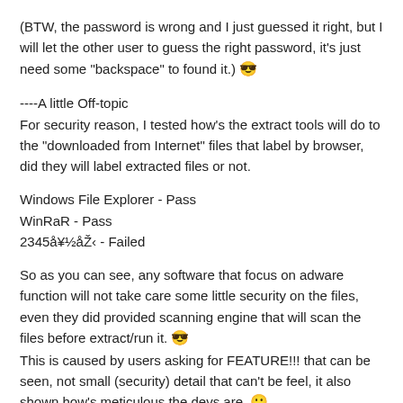(BTW, the password is wrong and I just guessed it right, but I will let the other user to guess the right password, it's just need some "backspace" to found it.) 😎
----A little Off-topic
For security reason, I tested how's the extract tools will do to the "downloaded from Internet" files that label by browser, did they will label extracted files or not.
Windows File Explorer - Pass
WinRaR - Pass
2345å¥½åŽ‹ - Failed
So as you can see, any software that focus on adware function will not take care some little security on the files, even they did provided scanning engine that will scan the files before extract/run it. 😎
This is caused by users asking for FEATURE!!! that can be seen, not small (security) detail that can't be feel, it also shown how's meticulous the devs are. 🙂
It will also be interesting for Antivirus, did they will look on this label or not, and doing some "heavy" scanning on the downloaded files. 🙂